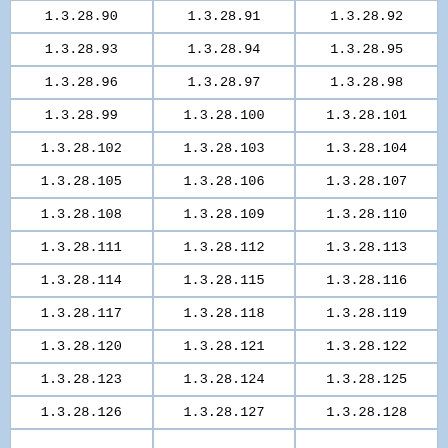| 1.3.28.90 | 1.3.28.91 | 1.3.28.92 |
| 1.3.28.93 | 1.3.28.94 | 1.3.28.95 |
| 1.3.28.96 | 1.3.28.97 | 1.3.28.98 |
| 1.3.28.99 | 1.3.28.100 | 1.3.28.101 |
| 1.3.28.102 | 1.3.28.103 | 1.3.28.104 |
| 1.3.28.105 | 1.3.28.106 | 1.3.28.107 |
| 1.3.28.108 | 1.3.28.109 | 1.3.28.110 |
| 1.3.28.111 | 1.3.28.112 | 1.3.28.113 |
| 1.3.28.114 | 1.3.28.115 | 1.3.28.116 |
| 1.3.28.117 | 1.3.28.118 | 1.3.28.119 |
| 1.3.28.120 | 1.3.28.121 | 1.3.28.122 |
| 1.3.28.123 | 1.3.28.124 | 1.3.28.125 |
| 1.3.28.126 | 1.3.28.127 | 1.3.28.128 |
| ... | ... | ... |